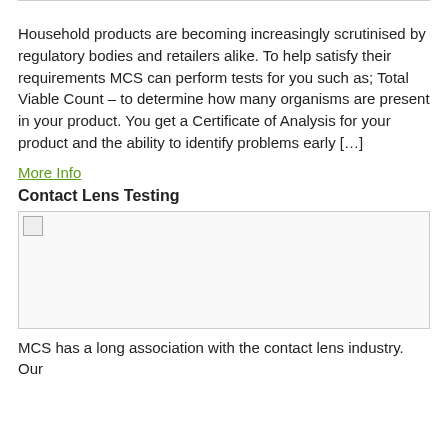Household products are becoming increasingly scrutinised by regulatory bodies and retailers alike. To help satisfy their requirements MCS can perform tests for you such as; Total Viable Count – to determine how many organisms are present in your product. You get a Certificate of Analysis for your product and the ability to identify problems early […]
More Info
Contact Lens Testing
[Figure (photo): Image placeholder for contact lens testing photo]
MCS has a long association with the contact lens industry. Our